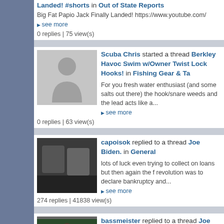Landed! #shorts in Out of State Reports
Big Fat Papio Jack Finally Landed! https://www.youtube.com/
▶ see more
0 replies | 75 view(s)
Scuba Chris started a thread Berkley Havoc Swim w/Owner Twist Lock Hooks! in Fishing Gear & Ta
For you fresh water enthusiast (and some salts out there) the hook/snare weeds and the lead acts like a...
▶ see more
0 replies | 63 view(s)
capoisok replied to a thread Joe Biden. in General
lots of luck even trying to collect on loans but then again the f revolution was to declare bankruptcy and...
▶ see more
274 replies | 41838 view(s)
bassmeister replied to a thread Joe Biden. in Gene Discussion
It appears that America has some much free money that we c about time that some foreign countries be sending...